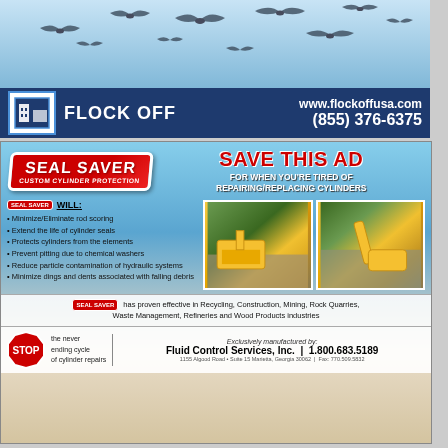[Figure (photo): Birds in flight against a blue sky]
FLOCK OFF  www.flockoffusa.com  (855) 376-6375
[Figure (infographic): Seal Saver advertisement with cylinder protection product info, bullet points, photos of construction equipment, stop sign, and Fluid Control Services contact info]
SEAL SAVER CUSTOM CYLINDER PROTECTION - SAVE THIS AD - FOR WHEN YOU'RE TIRED OF REPAIRING/REPLACING CYLINDERS - SEAL SAVER WILL: Minimize/Eliminate rod scoring, Extend the life of cylinder seals, Protects cylinders from the elements, Prevent pitting due to chemical washers, Reduce particle contamination of hydraulic systems, Minimize dings and dents associated with falling debris - SEAL SAVER has proven effective in Recycling, Construction, Mining, Rock Quarries, Waste Management, Refineries and Wood Products industries - STOP the never ending cycle of cylinder repairs - Exclusively manufactured by: Fluid Control Services, Inc. | 1.800.683.5189 - 1155 Algood Road • Suite 15 Marietta, Georgia 30062 | Fax: 770.509.5832